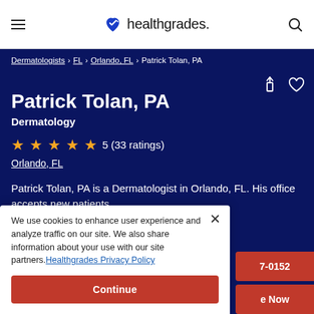healthgrades.
Dermatologists > FL > Orlando, FL > Patrick Tolan, PA
Patrick Tolan, PA
Dermatology
5 (33 ratings)
Orlando, FL
Patrick Tolan, PA is a Dermatologist in Orlando, FL. His office accepts new patients.
We use cookies to enhance user experience and analyze traffic on our site. We also share information about your use with our site partners. Healthgrades Privacy Policy
Continue